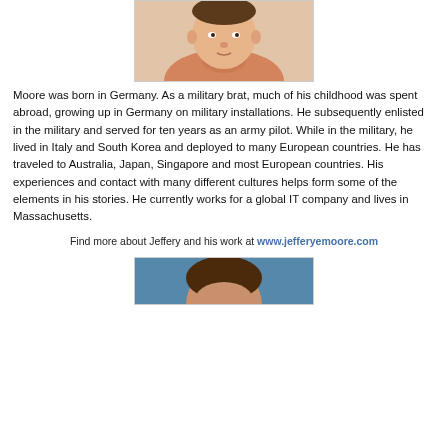[Figure (photo): Portrait photo of a man in an orange/salmon shirt, cropped at top of page]
Moore was born in Germany. As a military brat, much of his childhood was spent abroad, growing up in Germany on military installations. He subsequently enlisted in the military and served for ten years as an army pilot. While in the military, he lived in Italy and South Korea and deployed to many European countries. He has traveled to Australia, Japan, Singapore and most European countries. His experiences and contact with many different cultures helps form some of the elements in his stories. He currently works for a global IT company and lives in Massachusetts.
Find more about Jeffery and his work at www.jefferyemoore.com
[Figure (photo): Portrait photo of a person with dark hair against a blue background, partially visible at bottom of page]